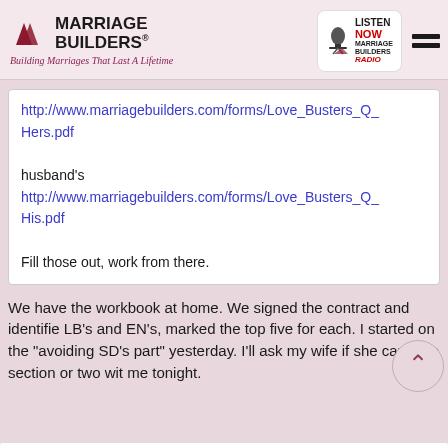[Figure (logo): Marriage Builders logo with red arrow triangles, bold text 'MARRIAGE BUILDERS' and italic tagline 'Building Marriages That Last A Lifetime']
[Figure (logo): Marriage Builders Radio badge - Listen NOW with microphone icon]
http://www.marriagebuilders.com/forms/Love_Busters_Q_Hers.pdf

husband's
http://www.marriagebuilders.com/forms/Love_Busters_Q_His.pdf

Fill those out, work from there.
We have the workbook at home. We signed the contract and identified LB's and EN's, marked the top five for each. I started on the "avoiding SD's part" yesterday. I'll ask my wife if she can do a section or two with me tonight.
Re: Hopeless a ReplaceResent 04/19/11 02:31 PM #2497